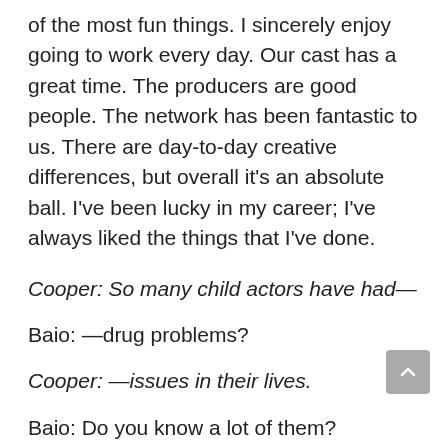of the most fun things. I sincerely enjoy going to work every day. Our cast has a great time. The producers are good people. The network has been fantastic to us. There are day-to-day creative differences, but overall it's an absolute ball. I've been lucky in my career; I've always liked the things that I've done.
Cooper: So many child actors have had—
Baio: —drug problems?
Cooper: —issues in their lives.
Baio: Do you know a lot of them?
Cooper: I thought there was a club.